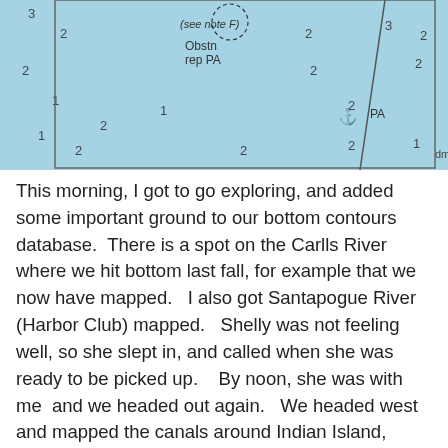[Figure (photo): A nautical/bathymetric chart showing water depth soundings (numbers 1, 2, 3) and annotations including 'Obstn rep PA', '(see note F)', and 'PA' with a small ship/vessel symbol. The chart background is light blue representing water.]
This morning, I got to go exploring, and added some important ground to our bottom contours database.  There is a spot on the Carlls River where we hit bottom last fall, for example that we now have mapped.   I also got Santapogue River (Harbor Club) mapped.   Shelly was not feeling well, so she slept in, and called when she was ready to be picked up.    By noon, she was with me  and we headed out again.   We headed west and mapped the canals around Indian Island, Strongs Creek and Laguno Canal.  Then headed to Woods Creek where we thought Bill Kruse and Jordan Ward had purchased waterfront property to dock their 40 footer.   Wrong creek.  But We found them.  They are in the un-named